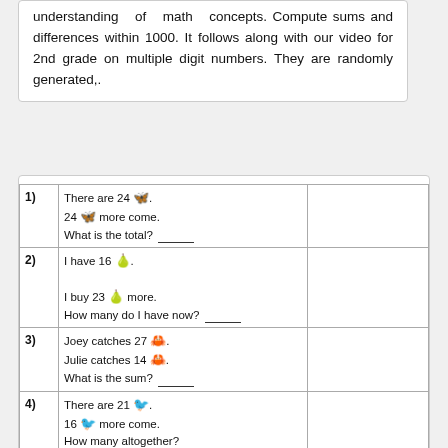understanding of math concepts. Compute sums and differences within 1000. It follows along with our video for 2nd grade on multiple digit numbers. They are randomly generated,.
| # | Problem | Answer |
| --- | --- | --- |
| 1) | There are 24 🦋. 24 🦋 more come. What is the total? ____ |  |
| 2) | I have 16 🍐. I buy 23 🍐 more. How many do I have now? ____ |  |
| 3) | Joey catches 27 🦀. Julie catches 14 🦀. What is the sum? ____ |  |
| 4) | There are 21 🐦. 16 🐦 more come. How many altogether? ____ |  |
| 5) | I have 16 🧦. I get 28 🧦 more. How many in all? ____ |  |
| 6) | I see 32 🐠. |  |